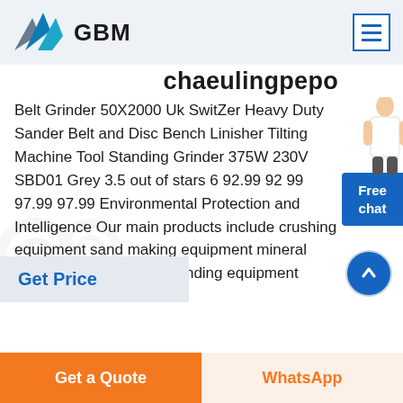[Figure (logo): GBM logo with blue and grey mountain/arrow graphic and bold GBM text]
[Figure (illustration): Hamburger menu icon in blue border box, top right header]
chaeulingpepo (partially visible, cut off at top)
Belt Grinder 50X2000 Uk SwitZer Heavy Duty Sander Belt and Disc Bench Linisher Tilting Machine Tool Standing Grinder 375W 230V SBD01 Grey 3.5 out of stars 6 92.99 92 99 97.99 97.99 Environmental Protection and Intelligence Our main products include crushing equipment sand making equipment mineral processing equipment grinding equipment
Get Price
[Figure (illustration): Free chat widget - blue box with text 'Free chat' and person image]
[Figure (illustration): Scroll up button - blue circle with upward arrow]
Get a Quote
WhatsApp